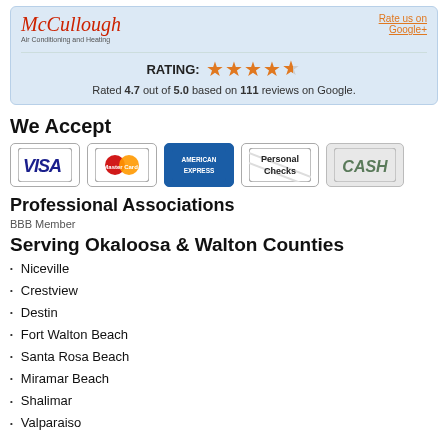[Figure (logo): McCullough Air Conditioning and Heating logo with Rate us on Google+ link]
RATING: Rated 4.7 out of 5.0 based on 111 reviews on Google.
We Accept
[Figure (infographic): Payment method badges: VISA, MasterCard, American Express, Personal Checks, CASH]
Professional Associations
BBB Member
Serving Okaloosa & Walton Counties
Niceville
Crestview
Destin
Fort Walton Beach
Santa Rosa Beach
Miramar Beach
Shalimar
Valparaiso